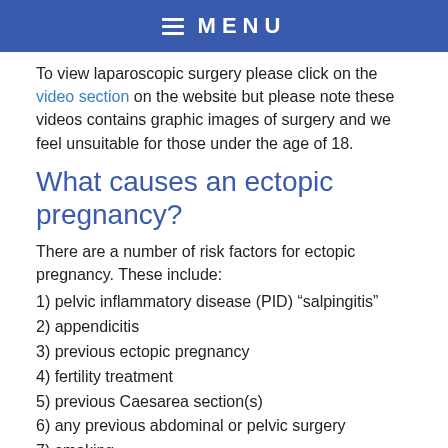≡ MENU
To view laparoscopic surgery please click on the video section on the website but please note these videos contains graphic images of surgery and we feel unsuitable for those under the age of 18.
What causes an ectopic pregnancy?
There are a number of risk factors for ectopic pregnancy. These include:
1) pelvic inflammatory disease (PID) “salpingitis”
2) appendicitis
3) previous ectopic pregnancy
4) fertility treatment
5) previous Caesarea section(s)
6) any previous abdominal or pelvic surgery
7) smoking